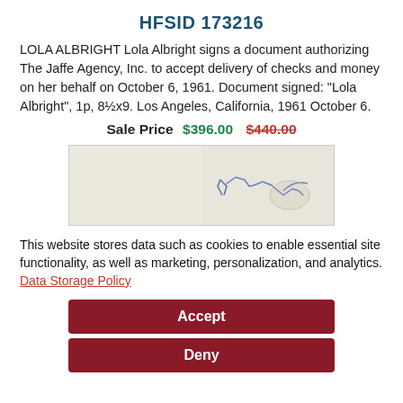HFSID 173216
LOLA ALBRIGHT Lola Albright signs a document authorizing The Jaffe Agency, Inc. to accept delivery of checks and money on her behalf on October 6, 1961. Document signed: "Lola Albright", 1p, 8½x9. Los Angeles, California, 1961 October 6.
Sale Price $396.00  $440.00
[Figure (photo): Photograph of a handwritten signature on a document, partially showing cursive writing in blue ink]
This website stores data such as cookies to enable essential site functionality, as well as marketing, personalization, and analytics. Data Storage Policy
Accept
Deny